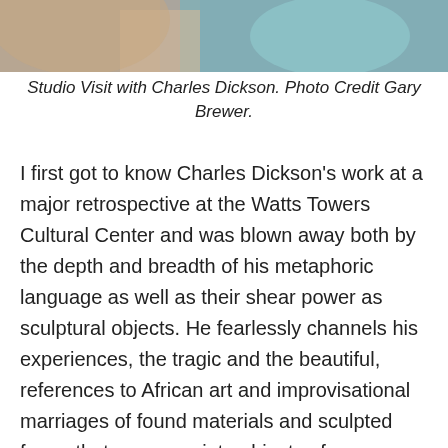[Figure (photo): Close-up photo of hands working with clay or ceramic material, with a teal/blue bowl visible in the background. Studio visit setting.]
Studio Visit with Charles Dickson. Photo Credit Gary Brewer.
I first got to know Charles Dickson’s work at a major retrospective at the Watts Towers Cultural Center and was blown away both by the depth and breadth of his metaphoric language as well as their shear power as sculptural objects. He fearlessly channels his experiences, the tragic and the beautiful, references to African art and improvisational marriages of found materials and sculpted forms that converge into objects of power.